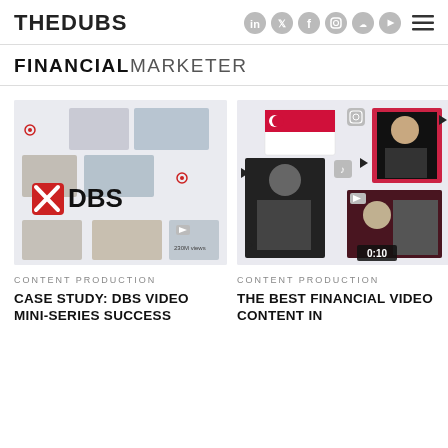THEDUBS — social icons — menu
FINANCIAL MARKETER
[Figure (photo): DBS bank promotional collage showing multiple people and DBS logo with view counts]
CONTENT PRODUCTION
CASE STUDY: DBS VIDEO MINI-SERIES SUCCESS
[Figure (photo): Social media video content collage with Singapore flag, people using phones, and a 0:10 video timer]
CONTENT PRODUCTION
THE BEST FINANCIAL VIDEO CONTENT IN